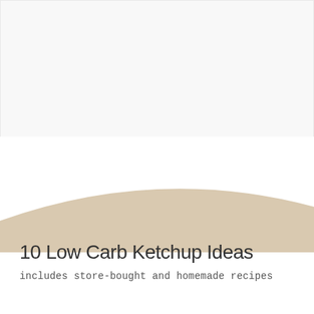[Figure (photo): Cover page of a recipe document. Upper portion is a white/light grey background with three small grey square dots centered in the middle area. Lower portion shows a curved beige/cream shape at the bottom, with white space above it containing the title text.]
10 Low Carb Ketchup Ideas
includes store-bought and homemade recipes